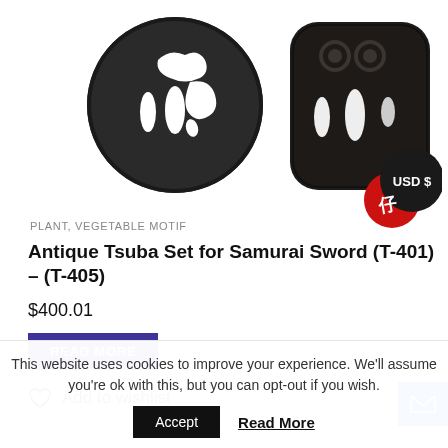[Figure (photo): Two antique Japanese tsuba (sword guards). Left: circular iron tsuba with plant/cloud motif cutouts in white. Right: rectangular rounded iron tsuba with similar cutouts. Black iron with decorative carving.]
[Figure (infographic): Currency badge: overlapping black circle labeled 'USD $' and red circle with Japanese kanji character.]
PLANT, VEGETABLE MOTIF
Antique Tsuba Set for Samurai Sword (T-401) – (T-405)
$400.01
READ MORE
Add to wishlist
This website uses cookies to improve your experience. We'll assume you're ok with this, but you can opt-out if you wish.
Accept
Read More